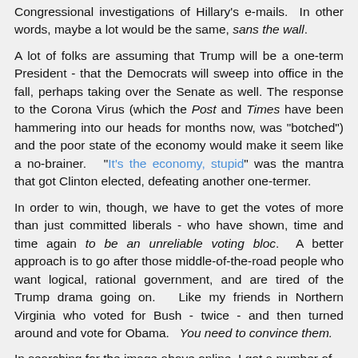Congressional investigations of Hillary's e-mails. In other words, maybe a lot would be the same, sans the wall.
A lot of folks are assuming that Trump will be a one-term President - that the Democrats will sweep into office in the fall, perhaps taking over the Senate as well. The response to the Corona Virus (which the Post and Times have been hammering into our heads for months now, was "botched") and the poor state of the economy would make it seem like a no-brainer. "It's the economy, stupid" was the mantra that got Clinton elected, defeating another one-termer.
In order to win, though, we have to get the votes of more than just committed liberals - who have shown, time and time again to be an unreliable voting bloc. A better approach is to go after those middle-of-the-road people who want logical, rational government, and are tired of the Trump drama going on. Like my friends in Northern Virginia who voted for Bush - twice - and then turned around and vote for Obama. You need to convince them.
In searching for the image above online, I got a number of